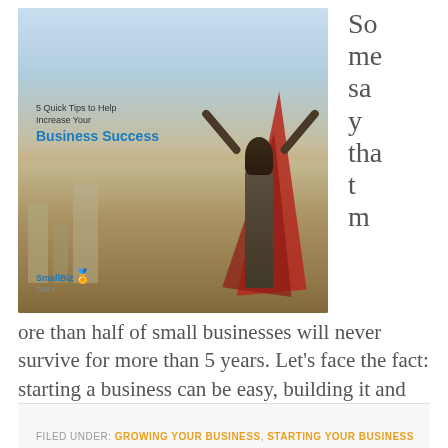[Figure (illustration): Promotional image for '5 Quick Tips to Help Increase Your Business Success' showing a woman with arms raised wearing a red cape, city skyline background, SmallBiz Daily logo at bottom left]
Some say that more than half of small businesses will never survive for more than 5 years. Let's face the fact: starting a business can be easy, building it and making it thrive, is difficult. There are so many strategies and tactics you can use to grow your business, but where should you start? Here [...]
FILED UNDER: GROWING YOUR BUSINESS, STARTING YOUR BUSINESS